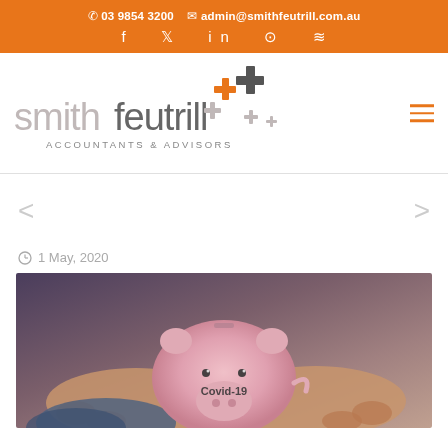📞 03 9854 3200   ✉ admin@smithfeutrill.com.au   f  𝕏  in  🎵  ⊳
[Figure (logo): Smith Feutrill Accountants & Advisors logo with plus signs in orange and grey]
1 May, 2020
[Figure (photo): Hands holding a pink piggy bank with 'Covid-19' written on it]